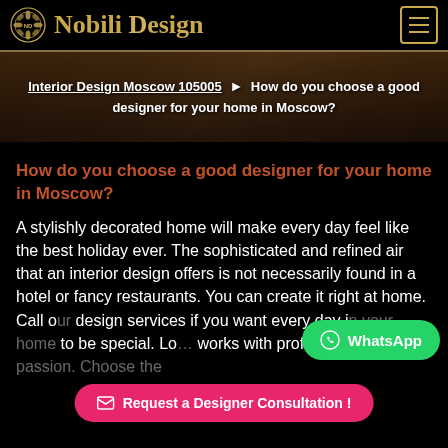Nobili Design
[Figure (screenshot): Interior design room photo used as banner background with breadcrumb navigation overlay]
Interior Design Moscow 105005 ▶ How do you choose a good designer for your home in Moscow?
How do you choose a good designer for your home in Moscow?
A stylishly decorated home will make every day feel like the best holiday ever. The sophisticated and refined air that an interior design offers is not necessarily found in a hotel or fancy restaurants. You can create it right at home. Call our design services if you want every day in your home to be special. Lo works with professionalism and passion. Choose the best interior for your home. Please feel free to
WhatsApp
Request a Designer Consultation !